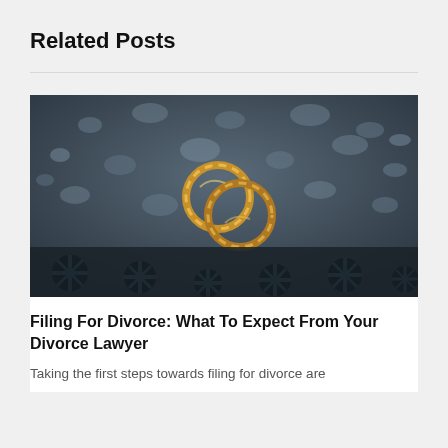Related Posts
[Figure (photo): Two gold wedding rings resting on a dark wet surface with water droplets, with ornate dark floral pattern at the bottom of the image]
Filing For Divorce: What To Expect From Your Divorce Lawyer
Taking the first steps towards filing for divorce are